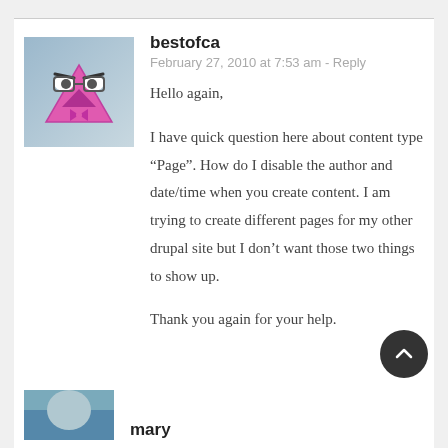bestofca
February 27, 2010 at 7:53 am - Reply
Hello again,

I have quick question here about content type “Page”. How do I disable the author and date/time when you create content. I am trying to create different pages for my other drupal site but I don’t want those two things to show up.

Thank you again for your help.
mary